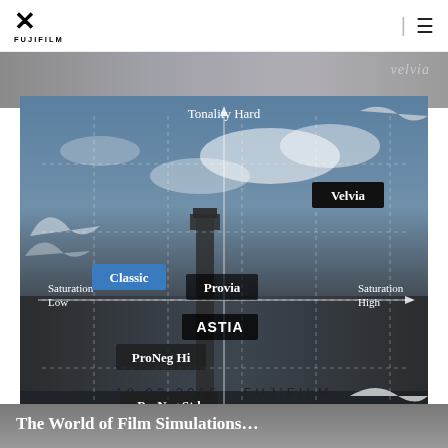FUJIFILM
[Figure (infographic): Fujifilm film simulation map showing film types plotted on a 2-axis grid: Tonality Hard (top) vs Tonality Soft (bottom), Saturation Low (left) vs Saturation High (right). Film simulations plotted: Velvia (top-right), Classic (mid-left, highlighted in blue), Provia (center), ASTIA (center-bottom), ProNeg Hi (lower-left-center), ProNeg Std (lower-center), with seagulls and London Big Ben scene in background. Photo credit: Photo by Tomasz Lazar.]
19.03.2015   FUJIFILM
The World of Film Simulations...